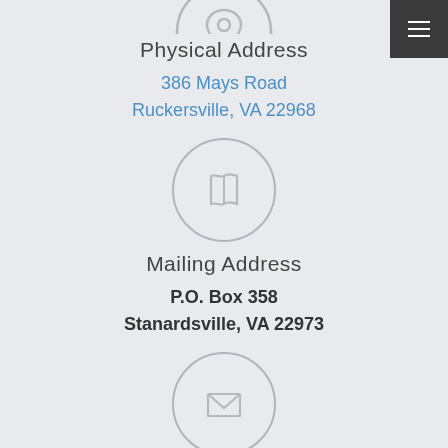[Figure (illustration): Circle icon with location pin (partially visible at top)]
Physical Address
386 Mays Road
Ruckersville, VA 22968
[Figure (illustration): Circle icon with map/book open icon]
Mailing Address
P.O. Box 358
Stanardsville, VA 22973
[Figure (illustration): Circle icon with envelope/email icon]
By Email